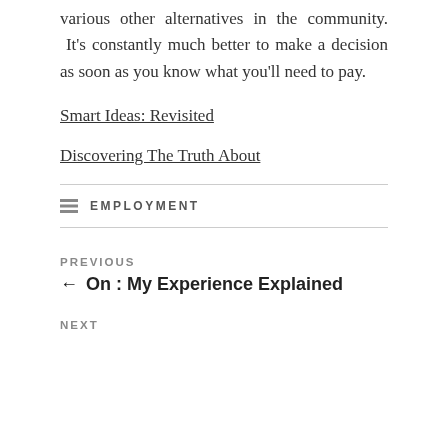various other alternatives in the community. It's constantly much better to make a decision as soon as you know what you'll need to pay.
Smart Ideas: Revisited
Discovering The Truth About
EMPLOYMENT
PREVIOUS
← On : My Experience Explained
NEXT